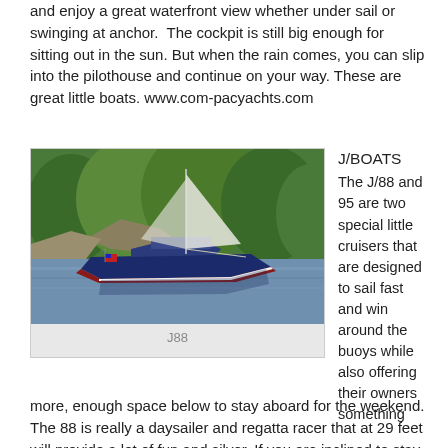and enjoy a great waterfront view whether under sail or swinging at anchor.  The cockpit is still big enough for sitting out in the sun. But when the rain comes, you can slip into the pilothouse and continue on your way. These are great little boats. www.com-pacyachts.com
[Figure (photo): Photograph of a blue sailboat (J88) on water near rocky tree-lined shore, with an American flag visible.]
J88
J/BOATS
The J/88 and 95 are two special little cruisers that are designed to sail fast and win around the buoys while also offering their owners something more, enough space below to stay aboard for the weekend. The 88 is really a daysailer and regatta racer that at 29 feet will provide a lot of fun and silver. If you are inclined to stay aboard, of course you can but you will be camping.  The 95 is a step up in accommodations and offer the unique quality of being a shoal draft cruiser. The boat is fitted with a shoal draft fin keel with a bulb that hangs down to reduce wind ride it. When sailing hard...